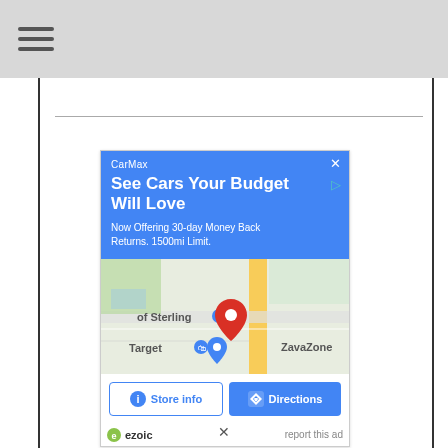Navigation menu (hamburger icon)
[Figure (screenshot): CarMax advertisement showing 'See Cars Your Budget Will Love' with map showing Sterling area with Target and ZavaZone locations, plus Store info and Directions buttons. Powered by ezoic.]